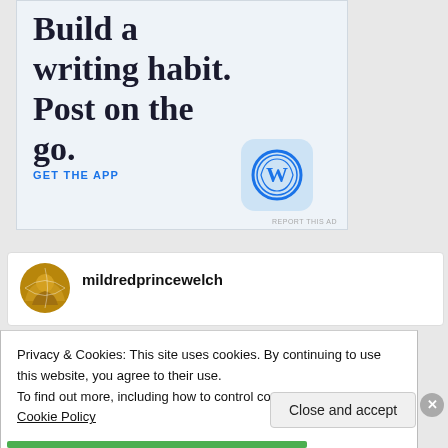[Figure (illustration): WordPress app advertisement banner with light blue background showing text 'Build a writing habit. Post on the go.' with a 'GET THE APP' call-to-action link and the WordPress logo icon.]
REPORT THIS AD
mildredprincewelch
Privacy & Cookies: This site uses cookies. By continuing to use this website, you agree to their use.
To find out more, including how to control cookies, see here: Cookie Policy
Close and accept